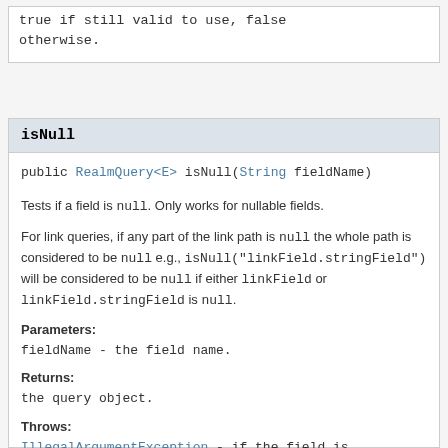true if still valid to use, false otherwise.
isNull
public RealmQuery<E> isNull(String fieldName)
Tests if a field is null. Only works for nullable fields.
For link queries, if any part of the link path is null the whole path is considered to be null e.g., isNull("linkField.stringField") will be considered to be null if either linkField or linkField.stringField is null.
Parameters:
fieldName - the field name.
Returns:
the query object.
Throws:
IllegalArgumentException - if the field is